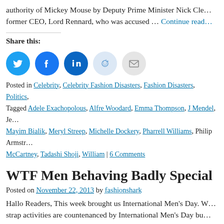authority of Mickey Mouse by Deputy Prime Minister Nick Cle… former CEO, Lord Rennard, who was accused … Continue reading
Share this:
[Figure (illustration): Five social share icon buttons: Twitter (blue), Facebook (blue), LinkedIn (dark blue), Reddit (light blue), Email (grey)]
Posted in Celebrity, Celebrity Fashion Disasters, Fashion Disasters, Politics, Tagged Adele Exachopolous, Alfre Woodard, Emma Thompson, J Mendel, Je… Mayim Bialik, Meryl Streep, Michelle Dockery, Pharrell Williams, Philip Armstr… McCartney, Tadashi Shoji, William | 6 Comments
WTF Men Behaving Badly Special
Posted on November 22, 2013 by fashionshark
Hallo Readers, This week brought us International Men's Day. W… strap activities are countenanced by International Men's Day bu… top the recent goings-on of two portly middle aged … Continue